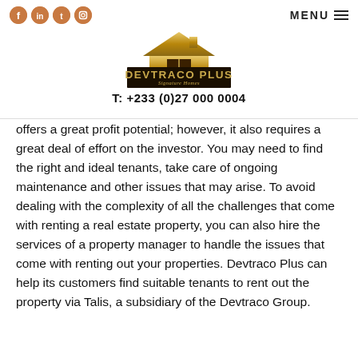Social icons | MENU | Devtraco Plus logo | T: +233 (0)27 000 0004
offers a great profit potential; however, it also requires a great deal of effort on the investor. You may need to find the right and ideal tenants, take care of ongoing maintenance and other issues that may arise. To avoid dealing with the complexity of all the challenges that come with renting a real estate property, you can also hire the services of a property manager to handle the issues that come with renting out your properties. Devtraco Plus can help its customers find suitable tenants to rent out the property via Talis, a subsidiary of the Devtraco Group.